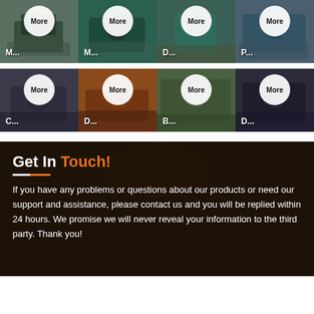[Figure (photo): Grid of 8 industrial machinery product thumbnails, each with a 'More' button circle overlay and abbreviated label]
Get In Touch!
If you have any problems or questions about our products or need our support and assistance, please contact us and you will be replied within 24 hours. We promise we will never reveal your information to the third party. Thank you!